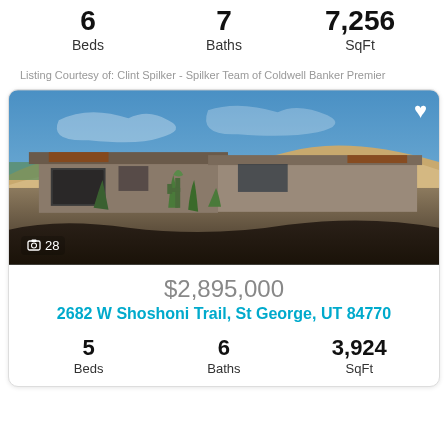6 Beds   7 Baths   7,256 SqFt
Listing Courtesy of: Clint Spilker - Spilker Team of Coldwell Banker Premier
[Figure (photo): Modern desert home with flat roof, adobe-style architecture, desert landscaping, mountains in background, blue sky]
📷 28
$2,895,000
2682 W Shoshoni Trail, St George, UT 84770
5 Beds   6 Baths   3,924 SqFt